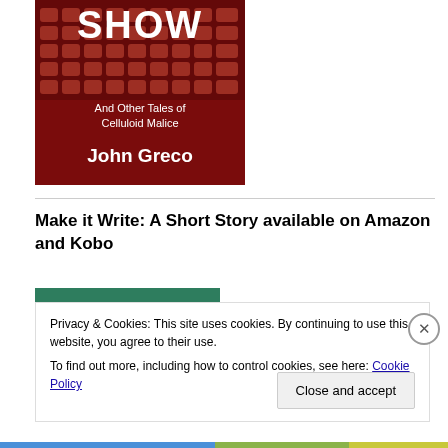[Figure (illustration): Book cover for 'SHOW And Other Tales of Celluloid Malice' by John Greco. Features rows of red theater seats as background. Text overlay shows title 'SHOW', subtitle 'And Other Tales of Celluloid Malice', and author name 'John Greco'.]
Make it Write: A Short Story available on Amazon and Kobo
Privacy & Cookies: This site uses cookies. By continuing to use this website, you agree to their use.
To find out more, including how to control cookies, see here: Cookie Policy
Close and accept